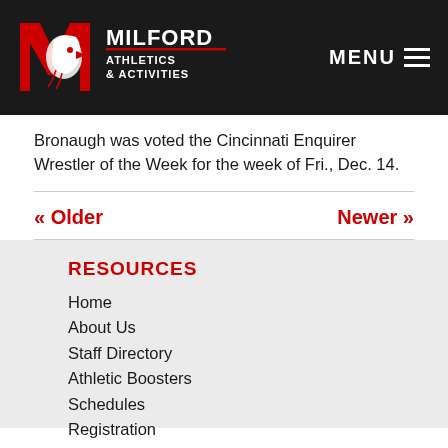[Figure (logo): Milford Athletics & Activities logo with eagle mascot on dark background header, plus MENU navigation]
Bronaugh was voted the Cincinnati Enquirer Wrestler of the Week for the week of Fri., Dec. 14.
« Older   Newer »
RESOURCES
Home
About Us
Staff Directory
Athletic Boosters
Schedules
Registration
News Archive